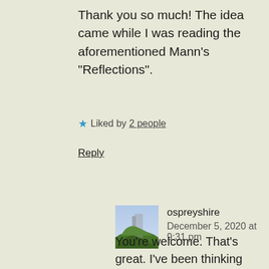Thank you so much! The idea came while I was reading the aforementioned Mann’s “Reflections”.
★ Liked by 2 people
Reply
ospreyshire
December 5, 2020 at 9:31 pm
You’re welcome. That’s great. I’ve been thinking about creative list topics for Iridium Eye. It’s great seeing people come up with unique topics for posts like these.